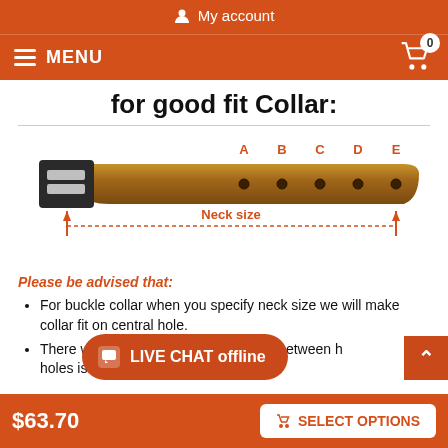My account
MENU  0
for good fit Collar:
[Figure (illustration): Diagram of a dog collar showing labeled holes A, B, C, D, E and a double-headed arrow indicating 'Neck size' along the bottom.]
Please be advised that:
For buckle collar when you specify neck size we will make collar fit on central hole.
There will be total of 5 holes, distance between holes is 1 inch (25 mm).
$63.70   SELECT OPTIONS